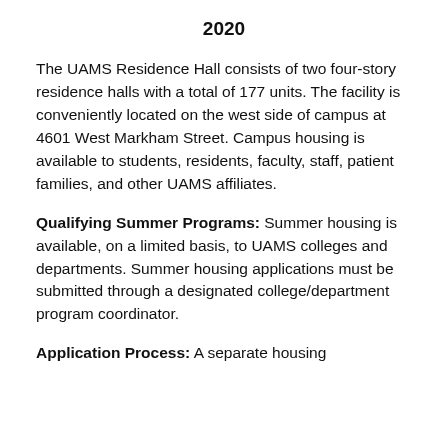2020
The UAMS Residence Hall consists of two four-story residence halls with a total of 177 units. The facility is conveniently located on the west side of campus at 4601 West Markham Street. Campus housing is available to students, residents, faculty, staff, patient families, and other UAMS affiliates.
Qualifying Summer Programs: Summer housing is available, on a limited basis, to UAMS colleges and departments. Summer housing applications must be submitted through a designated college/department program coordinator.
Application Process: A separate housing...